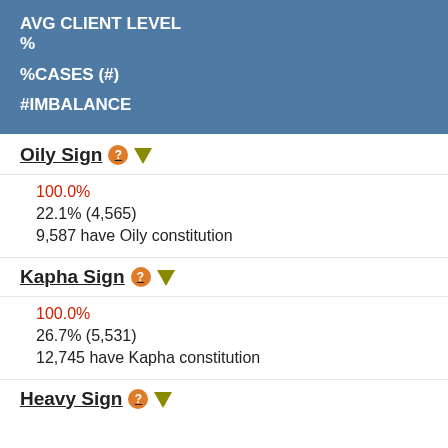AVG CLIENT LEVEL %
%CASES (#)
#IMBALANCE
Oily Sign
100.0%
22.1% (4,565)
9,587 have Oily constitution
Kapha Sign
100.0%
26.7% (5,531)
12,745 have Kapha constitution
Heavy Sign